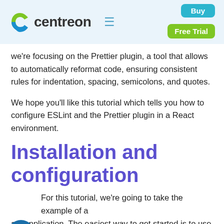centreon | Buy | Free Trial
we're focusing on the Prettier plugin, a tool that allows to automatically reformat code, ensuring consistent rules for indentation, spacing, semicolons, and quotes.
We hope you'll like this tutorial which tells you how to configure ESLint and the Prettier plugin in a React environment.
Installation and configuration
For this tutorial, we're going to take the example of a React application. The easiest way to get started is to use create-react-app, so that everything needed to